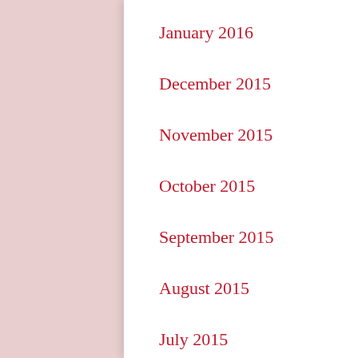January 2016
December 2015
November 2015
October 2015
September 2015
August 2015
July 2015
June 2015
May 2015
April 2015
March 2015
February 2015
January 2015
December 2014